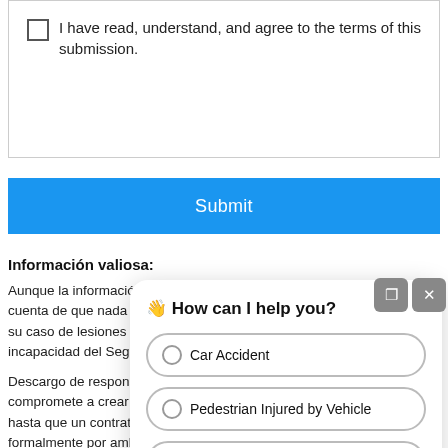I have read, understand, and agree to the terms of this submission.
Submit
Información valiosa:
Aunque la información que recibirá será muy útil, es importante darse cuenta de que nada reemplaza el valor de contratarnos para manejar su caso de lesiones personales, el caso de accidente de tráfico, o su incapacidad del Seguro Social.
Descargo de responsabilidad: La Firma de Abogados Griffin no se compromete a crear una relación abogado-cliente con ningún usuario hasta que un contrato de honorarios sea firmado y acordado formalmente por ambas partes. La información proporcionada a través de la función de chat, el formulario de calificación de casos, el formulario de contacto, el formulario de evaluación, boletines informativos o correos electrónicos o cualquier otra función de comunicación en nuestro sitio web no constituye un asesoramiento jurídico formal y no crea una relación de
How can I help you?
Car Accident
Pedestrian Injured by Vehicle
Slip And Fall